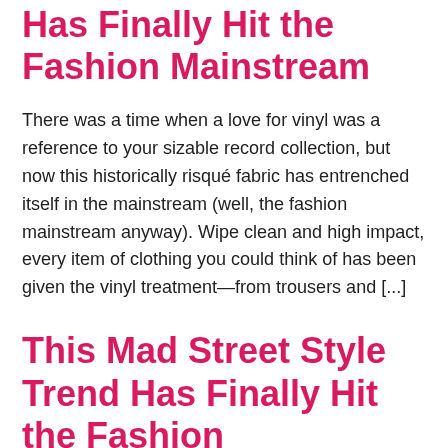Has Finally Hit the Fashion Mainstream
There was a time when a love for vinyl was a reference to your sizable record collection, but now this historically risqué fabric has entrenched itself in the mainstream (well, the fashion mainstream anyway). Wipe clean and high impact, every item of clothing you could think of has been given the vinyl treatment—from trousers and [...]
This Mad Street Style Trend Has Finally Hit the Fashion Mainstream
There was a time when a love for vinyl was a reference to your sizable record collection, but now this historically risqué fabric has entrenched itself in the mainstream (well, the